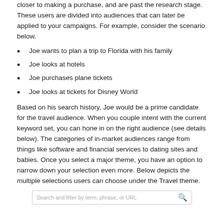closer to making a purchase, and are past the research stage. These users are divided into audiences that can later be applied to your campaigns. For example, consider the scenario below.
Joe wants to plan a trip to Florida with his family
Joe looks at hotels
Joe purchases plane tickets
Joe looks at tickets for Disney World
Based on his search history, Joe would be a prime candidate for the travel audience. When you couple intent with the current keyword set, you can hone in on the right audience (see details below). The categories of in-market audiences range from things like software and financial services to dating sites and babies. Once you select a major theme, you have an option to narrow down your selection even more. Below depicts the multiple selections users can choose under the Travel theme.
[Figure (screenshot): Search and filter by term, phrase, or URL input box with a search icon on the right]